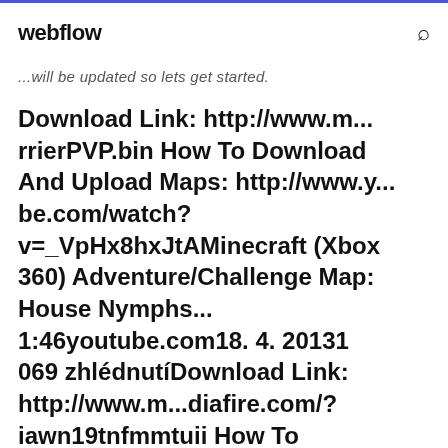webflow
...will be updated so lets get started.
Download Link: http://www.m...rrierPVP.bin How To Download And Upload Maps: http://www.y...be.com/watch?v=_VpHx8hxJtAMinecraft (Xbox 360) Adventure/Challenge Map: House Nymphs... 1:46youtube.com18. 4. 20131 069 zhlédnutíDownload Link: http://www.m...diafire.com/?iawn19tnfmmtuii How To Download And Upload Maps...